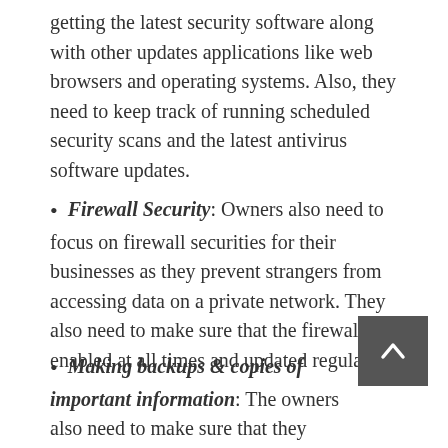getting the latest security software along with other updates applications like web browsers and operating systems. Also, they need to keep track of running scheduled security scans and the latest antivirus software updates.
Firewall Security: Owners also need to focus on firewall securities for their businesses as they prevent strangers from accessing data on a private network. They also need to make sure that the firewall is enabled at all times and updated regularly.
Making backups & copies of important information: The owners also need to make sure that they regularly backup all the crucial data related to their